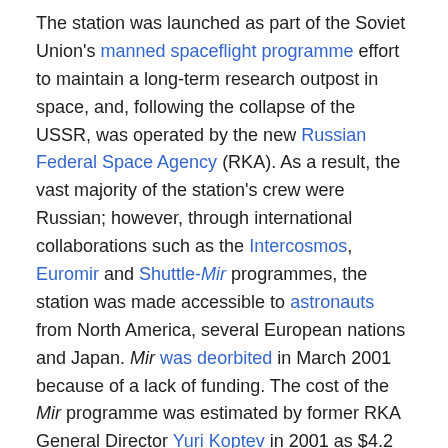The station was launched as part of the Soviet Union's manned spaceflight programme effort to maintain a long-term research outpost in space, and, following the collapse of the USSR, was operated by the new Russian Federal Space Agency (RKA). As a result, the vast majority of the station's crew were Russian; however, through international collaborations such as the Intercosmos, Euromir and Shuttle-Mir programmes, the station was made accessible to astronauts from North America, several European nations and Japan. Mir was deorbited in March 2001 because of a lack of funding. The cost of the Mir programme was estimated by former RKA General Director Yuri Koptev in 2001 as $4.2 billion over its lifetime (including development, assembly and orbital operation).[14]
Origins